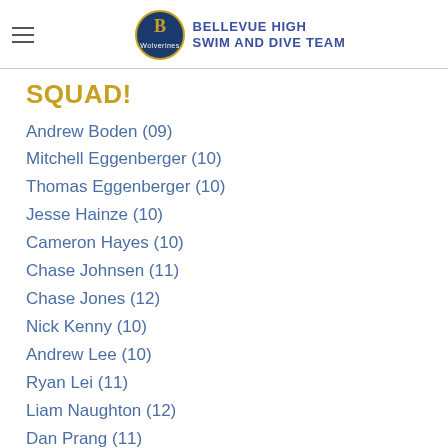BELLEVUE HIGH SWIM AND DIVE TEAM
SQUAD!
Andrew Boden (09)
Mitchell Eggenberger (10)
Thomas Eggenberger (10)
Jesse Hainze (10)
Cameron Hayes (10)
Chase Johnsen (11)
Chase Jones (12)
Nick Kenny (10)
Andrew Lee (10)
Ryan Lei (11)
Liam Naughton (12)
Dan Prang (11)
AJ Rossman (09)
Zack Rossman (11)
Nathan Shao (09)
Ben Smith (10)